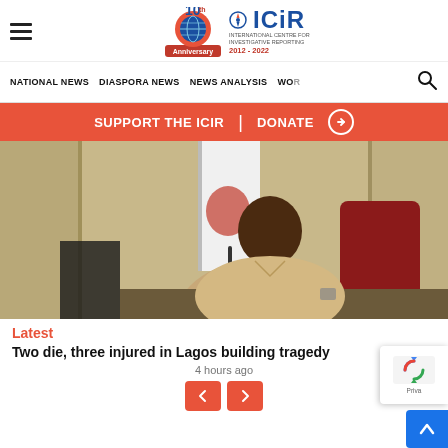ICIR 10th Anniversary Logo — ICIR 2012-2022
NATIONAL NEWS | DIASPORA NEWS | NEWS ANALYSIS | WO
SUPPORT THE ICIR | DONATE
[Figure (photo): A man in a beige short-sleeve shirt seated at a desk with a red microphone, in front of a flag and panelled wall, seated in a red chair.]
Latest
Two die, three injured in Lagos building tragedy
4 hours ago